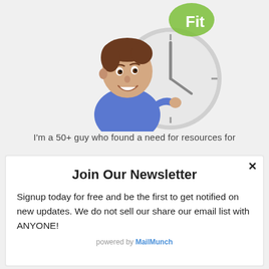[Figure (illustration): Cartoon illustration of a smiling man with brown hair in a blue shirt, peeking around a large grey clock. A green logo with 'Fit' text appears in the upper right area.]
I'm a 50+ guy who found a need for resources for
Join Our Newsletter
Signup today for free and be the first to get notified on new updates. We do not sell our share our email list with ANYONE!
powered by MailMunch